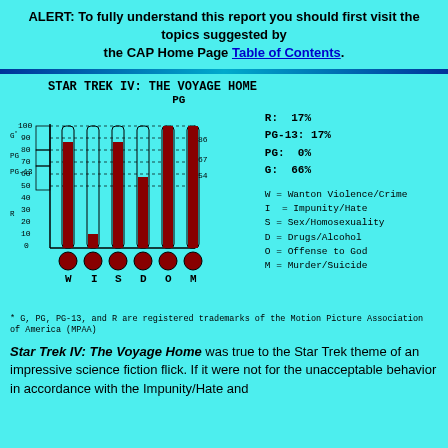ALERT: To fully understand this report you should first visit the topics suggested by the CAP Home Page Table of Contents.
[Figure (bar-chart): STAR TREK IV: THE VOYAGE HOME PG]
R: 17%
PG-13: 17%
PG: 0%
G: 66%
W = Wanton Violence/Crime
I = Impunity/Hate
S = Sex/Homosexuality
D = Drugs/Alcohol
O = Offense to God
M = Murder/Suicide
* G, PG, PG-13, and R are registered trademarks of the Motion Picture Association of America (MPAA)
Star Trek IV: The Voyage Home was true to the Star Trek theme of an impressive science fiction flick. If it were not for the unacceptable behavior in accordance with the Impunity/Hate and